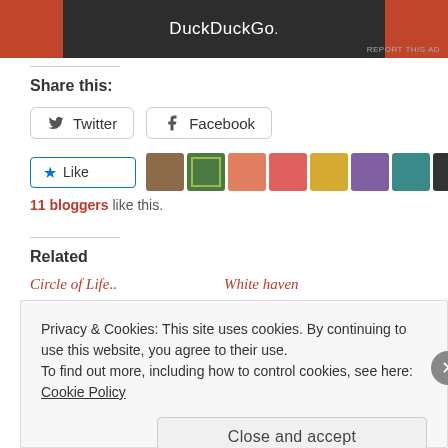[Figure (screenshot): DuckDuckGo advertisement banner with orange sides and dark center showing 'DuckDuckGo.' text in white]
REPORT THIS AD
Share this:
Twitter
Facebook
[Figure (screenshot): Like button with blue star icon and avatar row showing 11 blogger profile photos]
11 bloggers like this.
Related
Circle of Life..
White haven
Privacy & Cookies: This site uses cookies. By continuing to use this website, you agree to their use.
To find out more, including how to control cookies, see here: Cookie Policy
Close and accept